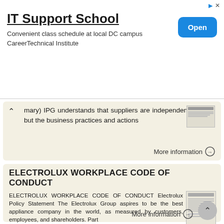[Figure (screenshot): Advertisement banner for IT Support School with Open button]
mary) IPG understands that suppliers are independent entities, but the business practices and actions
More information →
ELECTROLUX WORKPLACE CODE OF CONDUCT
ELECTROLUX WORKPLACE CODE OF CONDUCT Electrolux Policy Statement The Electrolux Group aspires to be the best appliance company in the world, as measured by customers, employees, and shareholders. Part
More information →